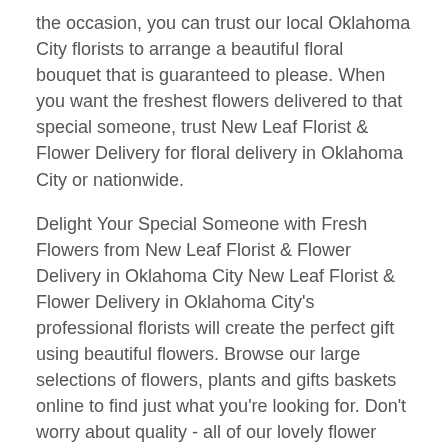the occasion, you can trust our local Oklahoma City florists to arrange a beautiful floral bouquet that is guaranteed to please. When you want the freshest flowers delivered to that special someone, trust New Leaf Florist & Flower Delivery for floral delivery in Oklahoma City or nationwide.
Delight Your Special Someone with Fresh Flowers from New Leaf Florist & Flower Delivery in Oklahoma City New Leaf Florist & Flower Delivery in Oklahoma City's professional florists will create the perfect gift using beautiful flowers. Browse our large selections of flowers, plants and gifts baskets online to find just what you're looking for. Don't worry about quality - all of our lovely flower arrangements are hand-arranged and personally delivered right to each door. As your local florist in Oklahoma City OK, our floral gifts make it easy to show how much you care.
New Leaf Florist & Flower Delivery has the quality arrangements you're looking for. Don't trust the other national floral sites who will ship uncut, unarranged flowers in a box. Every one of our floral gifts is hand-arranged and delivered to provide a personal touch. Our